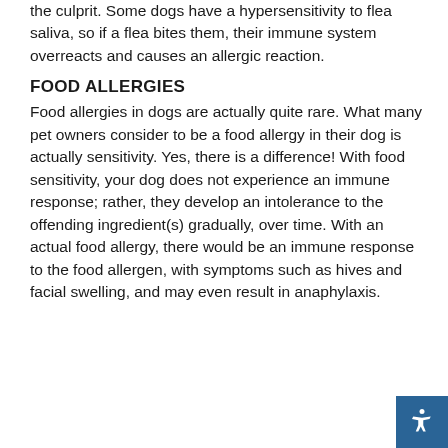the culprit. Some dogs have a hypersensitivity to flea saliva, so if a flea bites them, their immune system overreacts and causes an allergic reaction.
FOOD ALLERGIES
Food allergies in dogs are actually quite rare. What many pet owners consider to be a food allergy in their dog is actually sensitivity. Yes, there is a difference! With food sensitivity, your dog does not experience an immune response; rather, they develop an intolerance to the offending ingredient(s) gradually, over time. With an actual food allergy, there would be an immune response to the food allergen, with symptoms such as hives and facial swelling, and may even result in anaphylaxis.